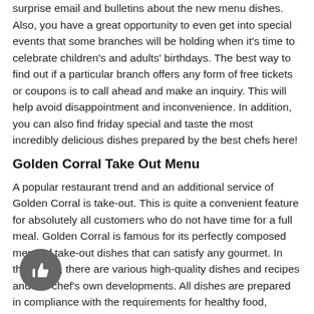surprise email and bulletins about the new menu dishes. Also, you have a great opportunity to even get into special events that some branches will be holding when it's time to celebrate children's and adults' birthdays. The best way to find out if a particular branch offers any form of free tickets or coupons is to call ahead and make an inquiry. This will help avoid disappointment and inconvenience. In addition, you can also find friday special and taste the most incredibly delicious dishes prepared by the best chefs here!
Golden Corral Take Out Menu
A popular restaurant trend and an additional service of Golden Corral is take-out. This is quite a convenient feature for absolutely all customers who do not have time for a full meal. Golden Corral is famous for its perfectly composed menu of take-out dishes that can satisfy any gourmet. In this menu, there are various high-quality dishes and recipes and the chef's own developments. All dishes are prepared in compliance with the requirements for healthy food, preserving the taste of home food.
Here you are offered large portions and all the variety of our menu to keep you full and satisfied. On the menu you can find an amazing Golden Corral chocolate fountain. However, the Pot Roast...